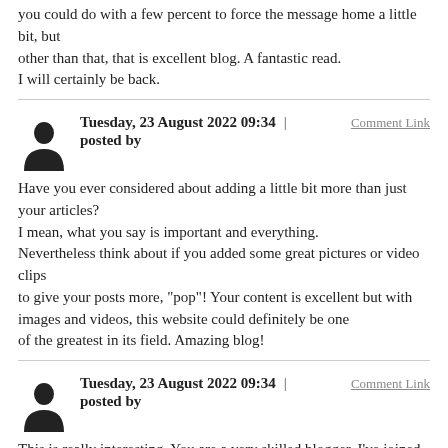you could do with a few percent to force the message home a little bit, but other than that, that is excellent blog. A fantastic read. I will certainly be back.
Tuesday, 23 August 2022 09:34 | Comment Link
posted by
Have you ever considered about adding a little bit more than just your articles? I mean, what you say is important and everything. Nevertheless think about if you added some great pictures or video clips to give your posts more, "pop"! Your content is excellent but with images and videos, this website could definitely be one of the greatest in its field. Amazing blog!
Tuesday, 23 August 2022 09:34 | Comment Link
posted by
This is really interesting, You are a very skilled blogger. I've joined your rss feed and look forward to